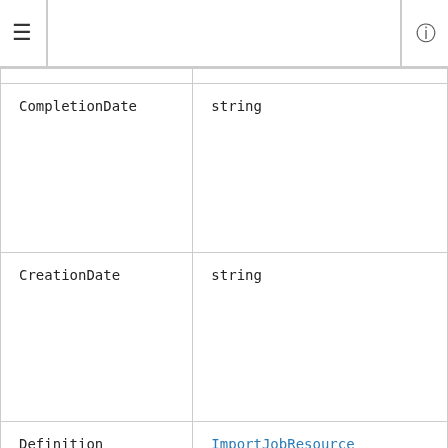≡  ⓘ
|  |  |
| CompletionDate | string |
| CreationDate | string |
| Definition | ImportJobResource |